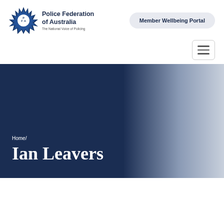[Figure (logo): Police Federation of Australia star badge logo with text 'Police Federation of Australia - The National Voice of Policing']
Member Wellbeing Portal
[Figure (other): Hamburger menu button (three horizontal lines)]
[Figure (other): Hero banner with dark navy to light grey gradient background]
Home/
Ian Leavers